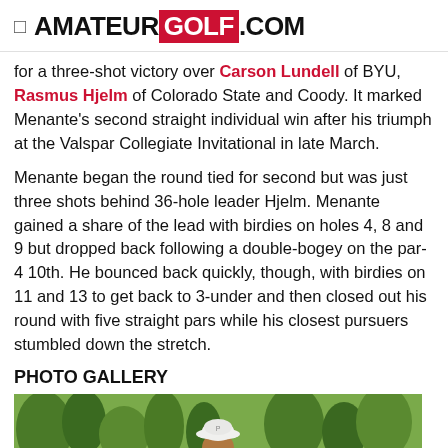AMATEURGOLF.COM
for a three-shot victory over Carson Lundell of BYU, Rasmus Hjelm of Colorado State and Coody. It marked Menante’s second straight individual win after his triumph at the Valspar Collegiate Invitational in late March.
Menante began the round tied for second but was just three shots behind 36-hole leader Hjelm. Menante gained a share of the lead with birdies on holes 4, 8 and 9 but dropped back following a double-bogey on the par-4 10th. He bounced back quickly, though, with birdies on 11 and 13 to get back to 3-under and then closed out his round with five straight pars while his closest pursuers stumbled down the stretch.
PHOTO GALLERY
[Figure (photo): Photo of a golfer wearing a white bucket hat, outdoors with green trees in background]